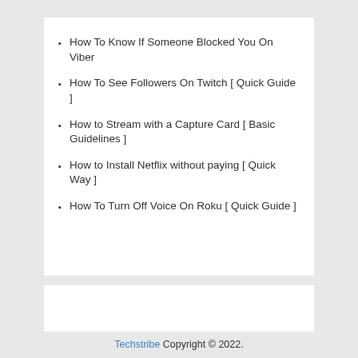How To Know If Someone Blocked You On Viber
How To See Followers On Twitch [ Quick Guide ]
How to Stream with a Capture Card [ Basic Guidelines ]
How to Install Netflix without paying [ Quick Way ]
How To Turn Off Voice On Roku [ Quick Guide ]
Techstribe Copyright © 2022.